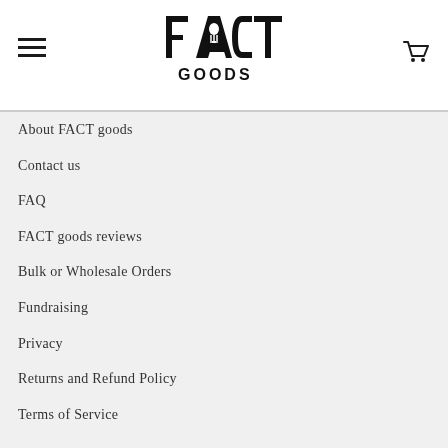[Figure (logo): FACT GOODS logo with stylized fork/spoon inside the letter A]
About FACT goods
Contact us
FAQ
FACT goods reviews
Bulk or Wholesale Orders
Fundraising
Privacy
Returns and Refund Policy
Terms of Service